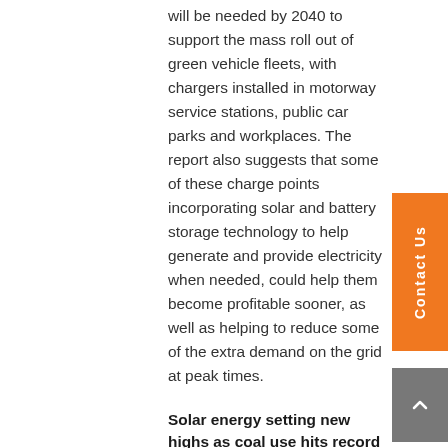will be needed by 2040 to support the mass roll out of green vehicle fleets, with chargers installed in motorway service stations, public car parks and workplaces. The report also suggests that some of these charge points incorporating solar and battery storage technology to help generate and provide electricity when needed, could help them become profitable sooner, as well as helping to reduce some of the extra demand on the grid at peak times.
Solar energy setting new highs as coal use hits record lows
The Department for Business, Energy and Industrial Strategy (BEIS) released the latest stats in October for energy generation in the UK between April and June 2018. The 4.65TWh of solar energy